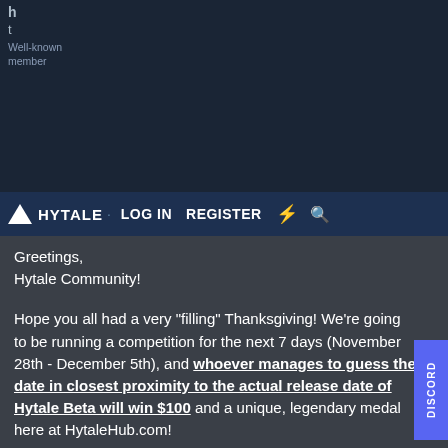h t Well-known member
HYTALE · LOG IN   REGISTER ⚡ 🔍
Greetings,
Hytale Community!
Hope you all had a very "filling" Thanksgiving! We're going to be running a competition for the next 7 days (November 28th - December 5th), and whoever manages to guess the date in closest proximity to the actual release date of Hytale Beta will win $100 and a unique, legendary medal here at HytaleHub.com!
Make sure that you have an actual account at HytaleHub.c prior to commenting! We will not be able to track you down and reward you otherwise!
To compete, simply give this post a 👍, and comment you guess below!